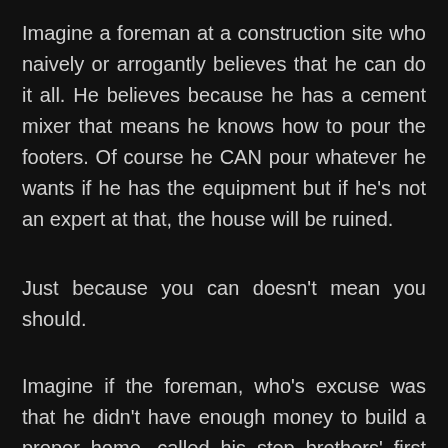Imagine a foreman at a construction site who naively or arrogantly believes that he can do it all. He believes because he has a cement mixer that means he knows how to pour the footers. Of course he CAN pour whatever he wants if he has the equipment but if he's not an expert at that, the house will be ruined.
Just because you can doesn't mean you should.
Imagine if the foreman, who's excuse was that he didn't have enough money to build a proper home, called his step brothers' first cousin's...